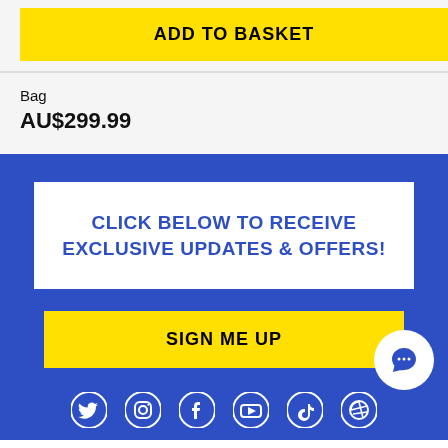ADD TO BASKET
Bag
AU$299.99
CLICK BELOW TO RECEIVE EXCLUSIVE UPDATES & OFFERS!
SIGN ME UP
[Figure (illustration): Chat bubble icon in a white circle on blue background]
[Figure (illustration): Social media icons row: Twitter, Instagram, Facebook, YouTube, TikTok, WordPress - white icons on blue background]